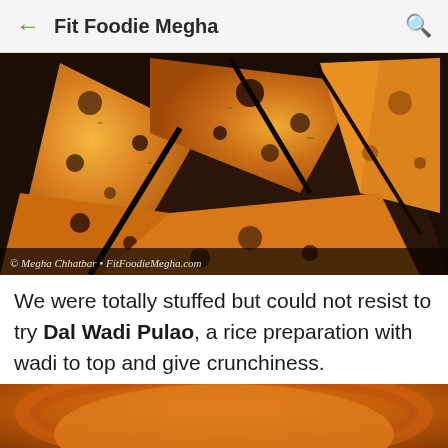Fit Foodie Megha
[Figure (photo): Close-up photo of Indian flatbread (paratha/roti) sliced into triangular pieces, golden brown with char marks, in a dark bowl. Watermark: © Megha Chhatbar • FitFoodieMegha.com]
We were totally stuffed but could not resist to try Dal Wadi Pulao, a rice preparation with wadi to top and give crunchiness.
[Figure (photo): Partial close-up photo of a bowl containing orange/reddish dish, likely Dal Wadi Pulao]